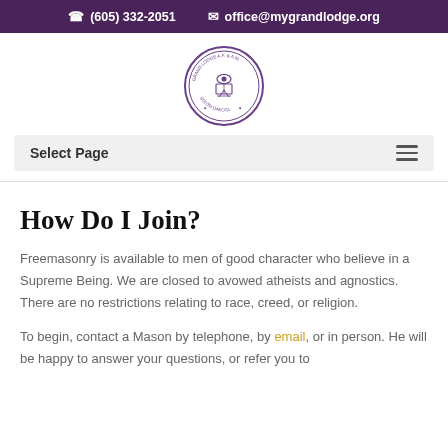(605) 332-2051   office@mygrandlodge.org
[Figure (logo): Grand Lodge A.F.&A.M. of South Dakota circular seal/emblem in purple and white]
Select Page
How Do I Join?
Freemasonry is available to men of good character who believe in a Supreme Being. We are closed to avowed atheists and agnostics. There are no restrictions relating to race, creed, or religion.
To begin, contact a Mason by telephone, by email, or in person. He will be happy to answer your questions, or refer you to